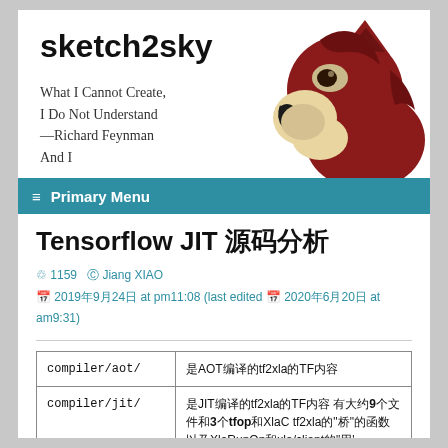sketch2sky
What I Cannot Create, I Do Not Understand —Richard Feynman And I
[Figure (illustration): Cartoon illustration of a red fox/wolf head facing left, anime style, cream-colored chin/neck area, on white background]
≡  Primary Menu
Tensorflow JIT 源码分析
1159  Jiang XIAO
2019年9月24日 at pm11:08 (last edited 2020年6月20日 at am9:31)
| Path | Description |
| --- | --- |
| compiler/aot/ | 是AOT编译的tf2xla的TF内容 |
| compiler/jit/ | 是JIT编译的tf2xla的TF内容 有大约9个文件和3个tfop和XlaC tf2xla的"桥"的函数以及XlaRunOp和xla/client的"用' |
|  | 这里xla_compiler.cc:XlaCompiler::CompileF |